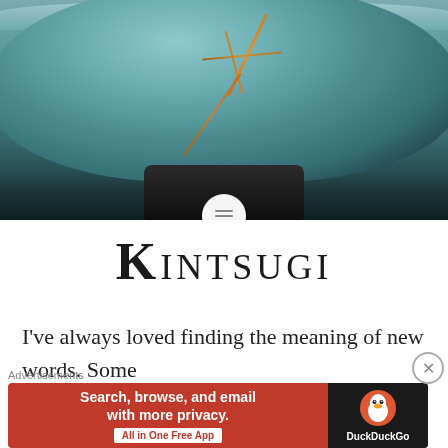[Figure (photo): A kintsugi bowl — a ceramic bowl with teal/grey-green glaze, repaired with gold lacquer cracks visible on the surface, sitting on a dark base, photographed against a light background.]
Kintsugi
I've always loved finding the meaning of new words. Some
[Figure (screenshot): Advertisement banner: DuckDuckGo ad reading 'Search, browse, and email with more privacy. All in One Free App' on orange/red background with DuckDuckGo duck logo on black background.]